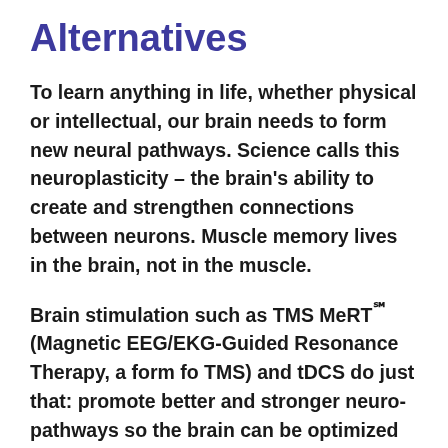Alternatives
To learn anything in life, whether physical or intellectual, our brain needs to form new neural pathways. Science calls this neuroplasticity – the brain's ability to create and strengthen connections between neurons. Muscle memory lives in the brain, not in the muscle.
Brain stimulation such as TMS MeRT℠ (Magnetic EEG/EKG-Guided Resonance Therapy, a form fo TMS) and tDCS do just that: promote better and stronger neuro-pathways so the brain can be optimized for performance.